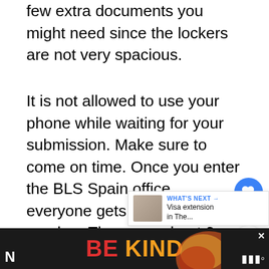few extra documents you might need since the lockers are not very spacious.
It is not allowed to use your phone while waiting for your submission. Make sure to come on time. Once you enter the BLS Spain office, everyone gets a designated number. There are about 3 windows, each with one person who will examine your documents and ask you a few questions.
BLS Spain acts as a middle person for the whole application process. They will make sure the complete requirements for your application.
N... ...u can st...
[Figure (screenshot): UI overlay with heart/like button (blue circle with heart icon), count '1', and share button. Also a 'WHAT'S NEXT' card showing a thumbnail image and text 'Visa extension in The...']
[Figure (screenshot): Advertisement banner at bottom: 'BE KIND' text in red and orange on dark background, with decorative floral element and close button]